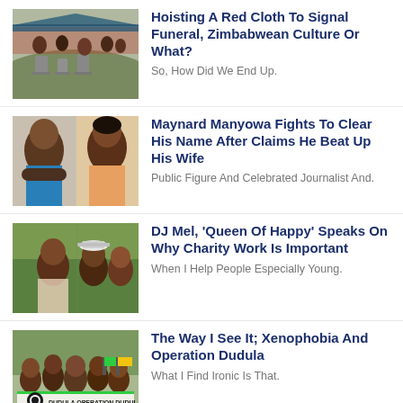[Figure (photo): People at an outdoor gathering or funeral scene with gravestones]
Hoisting A Red Cloth To Signal Funeral, Zimbabwean Culture Or What?
So, How Did We End Up.
[Figure (photo): Two individuals, a man and a woman, side by side]
Maynard Manyowa Fights To Clear His Name After Claims He Beat Up His Wife
Public Figure And Celebrated Journalist And.
[Figure (photo): Women at an outdoor event or demonstration]
DJ Mel, 'Queen Of Happy' Speaks On Why Charity Work Is Important
When I Help People Especially Young.
[Figure (photo): Crowd with Operation Dudula banners]
The Way I See It; Xenophobia And Operation Dudula
What I Find Ironic Is That.